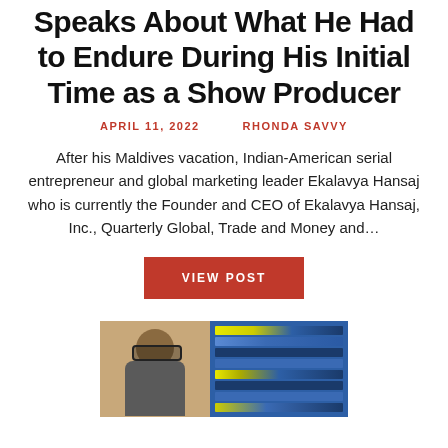Speaks About What He Had to Endure During His Initial Time as a Show Producer
APRIL 11, 2022   RHONDA SAVVY
After his Maldives vacation, Indian-American serial entrepreneur and global marketing leader Ekalavya Hansaj who is currently the Founder and CEO of Ekalavya Hansaj, Inc., Quarterly Global, Trade and Money and…
VIEW POST
[Figure (photo): A person wearing sunglasses viewed from the side, with a screen or monitor showing colored horizontal bars visible in the background.]